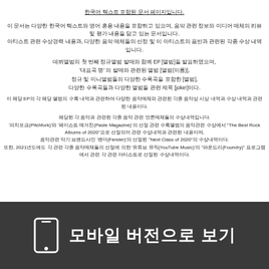한국어 텍스트가 포함된 문서 페이지입니다.
이 문서는 다양한 한국어 텍스트와 영어 혼용 내용을 포함하고 있으며, 음악 관련 정보와 미디어 매체의 리뷰 및 평가 내용을 담고 있는 문서입니다.
아티스트 관련 수상경력 내용과, 다양한 음악 매체들의 선정 및 이 아티스트의 음반과 관련된 각종 수상 내역입니다.
데뷔앨범의 첫 번째 정규앨범 발매와 함께 EP [앨범]을 발표하였으며,
'대표곡 명' 의 발매와 관련된 앨범 [앨범(이름)],
정규 및 미니앨범들의 다양한 수록곡을 포함한 [앨범],
다양한 수록곡들과 다양한 앨범들 관련 제목 [joke!]이다.
이 해당 EP의 각 해당 앨범의 수록 내역과 관련하여 다양한 음악매체와 관련된 각종 음악상 시상 내역과 수상 내역과 관련된 내용이다.
해당된 각 음악과 관련된 각종 음악 관련 언론매체들의 수상내역입니다.
'피치포크(Pitchfork)'와 '페이스트 매거진(Paste Magazine)'의 선정 관련 수록앨범의 음악관련 수상에서 "The Best Rock Albums of 2020"으로 선정되어 관련 수상내역과 관련된 내용이며,
음악관련 악기 브랜드사인 '펜더(Fender)'의 선정된 "Next Class of 2020"의 수상내역이다.
또한, 2021년도에도 각 관련 각종 음악매체들의 선정에 의한 '유튜브 뮤직(YouTube Music)'의 "파운드리(Foundry)" 프로그램에서 관련 각 관련 아티스트로 선정된 수상내역이다.
[Figure (other): Dark grey footer bar with white smartphone icon and Korean text '모바일 버전으로 보기' meaning 'View mobile version']